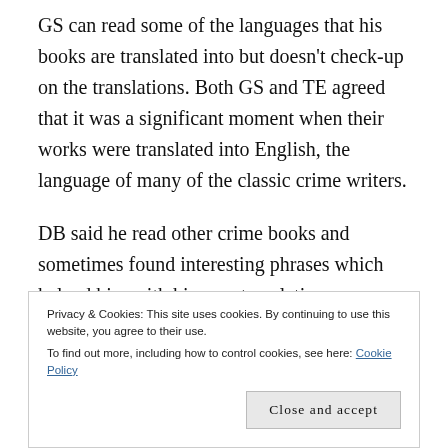GS can read some of the languages that his books are translated into but doesn't check-up on the translations. Both GS and TE agreed that it was a significant moment when their works were translated into English, the language of many of the classic crime writers.
DB said he read other crime books and sometimes found interesting phrases which helped him with his own translations. Translations are made in collaboration with editors who usually have the final
translate as they often have different degrees of
Privacy & Cookies: This site uses cookies. By continuing to use this website, you agree to their use.
To find out more, including how to control cookies, see here: Cookie Policy
Close and accept